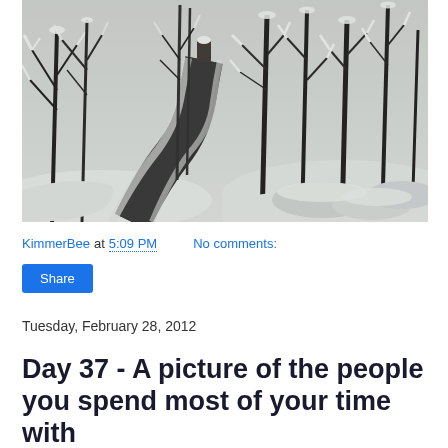[Figure (photo): Black and white photograph of a winding path through a snow-covered forest with bare trees]
KimmerBee at 5:09 PM    No comments:
Share
Tuesday, February 28, 2012
Day 37 - A picture of the people you spend most of your time with